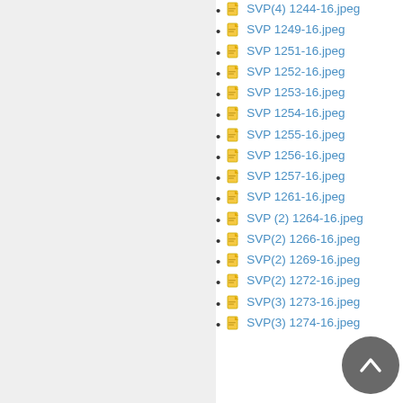SVP(4) 1244-16.jpeg
SVP 1249-16.jpeg
SVP 1251-16.jpeg
SVP 1252-16.jpeg
SVP 1253-16.jpeg
SVP 1254-16.jpeg
SVP 1255-16.jpeg
SVP 1256-16.jpeg
SVP 1257-16.jpeg
SVP 1261-16.jpeg
SVP (2) 1264-16.jpeg
SVP(2) 1266-16.jpeg
SVP(2) 1269-16.jpeg
SVP(2) 1272-16.jpeg
SVP(3) 1273-16.jpeg
SVP(3) 1274-16.jpeg